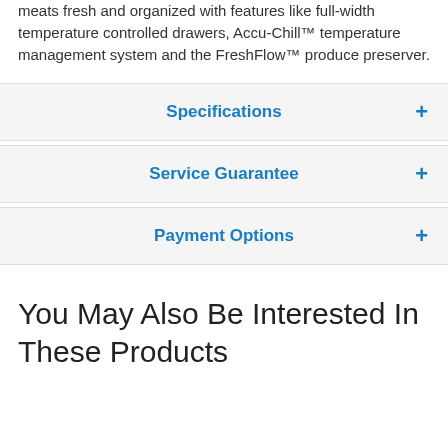meats fresh and organized with features like full-width temperature controlled drawers, Accu-Chill™ temperature management system and the FreshFlow™ produce preserver.
Specifications
Service Guarantee
Payment Options
You May Also Be Interested In These Products